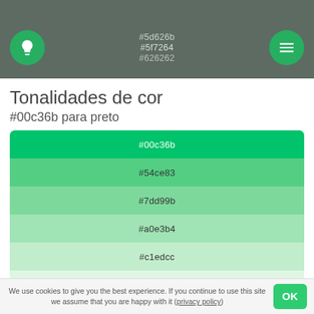#5d626b #5f7264 #626262
Tonalidades de cor
#00c36b para preto
[Figure (infographic): Color swatches showing shades from #00c36b to black: #00c36b, #54ce83, #7dd99b, #a0e3b4, #c1edcc, #e0f6e5]
We use cookies to give you the best experience. If you continue to use this site we assume that you are happy with it (privacy policy)